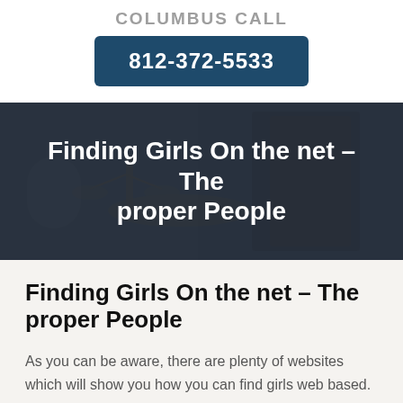COLUMBUS CALL
812-372-5533
[Figure (photo): Person holding scales of justice and law books in dark suit, background hero image for law firm website]
Finding Girls On the net – The proper People
Finding Girls On the net – The proper People
As you can be aware, there are plenty of websites which will show you how you can find girls web based. While